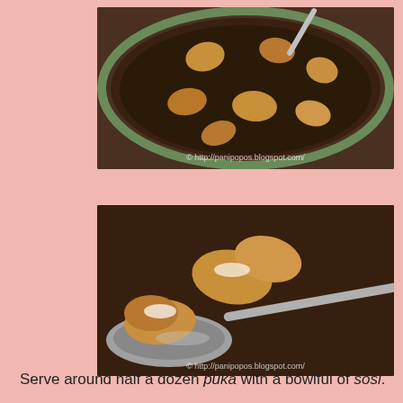[Figure (photo): Top-down view of a bowl with dark soup (sosi) and several pieces of fried puka floating in it, with a spoon visible. Watermark: © http://panipopos.blogspot.com/]
[Figure (photo): Close-up macro shot of a spoon holding pieces of fried puka over a bowl of dark sosi soup. Watermark: © http://panipopos.blogspot.com/]
Serve around half a dozen puka with a bowlful of sosi.